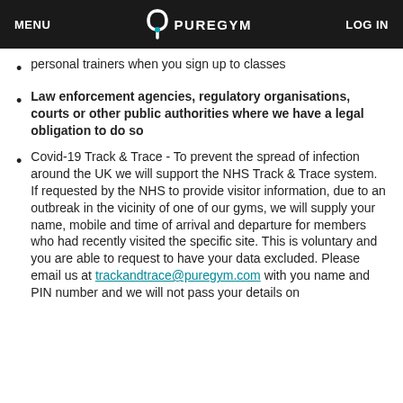MENU   PUREGYM   LOG IN
personal trainers when you sign up to classes
Law enforcement agencies, regulatory organisations, courts or other public authorities where we have a legal obligation to do so
Covid-19 Track & Trace - To prevent the spread of infection around the UK we will support the NHS Track & Trace system. If requested by the NHS to provide visitor information, due to an outbreak in the vicinity of one of our gyms, we will supply your name, mobile and time of arrival and departure for members who had recently visited the specific site. This is voluntary and you are able to request to have your data excluded. Please email us at trackandtrace@puregym.com with you name and PIN number and we will not pass your details on